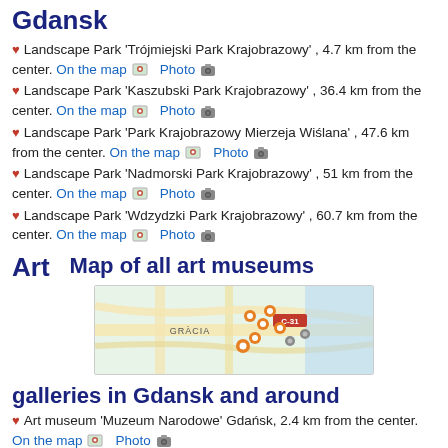Gdansk
Landscape Park 'Trójmiejski Park Krajobrazowy' , 4.7 km from the center. On the map  Photo
Landscape Park 'Kaszubski Park Krajobrazowy' , 36.4 km from the center. On the map  Photo
Landscape Park 'Park Krajobrazowy Mierzeja Wiślana' , 47.6 km from the center. On the map  Photo
Landscape Park 'Nadmorski Park Krajobrazowy' , 51 km from the center. On the map  Photo
Landscape Park 'Wdzydzki Park Krajobrazowy' , 60.7 km from the center. On the map  Photo
Art   Map of all art museums
[Figure (map): Map showing art museum locations in Gracia area with orange markers]
galleries in Gdansk and around
Art museum 'Muzeum Narodowe' Gdańsk, 2.4 km from the center. On the map  Photo